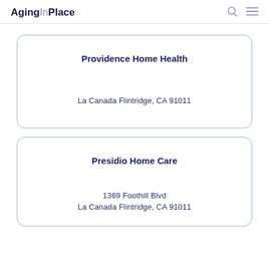AgingInPlace
Providence Home Health
La Canada Flintridge, CA 91011
Presidio Home Care
1369 Foothill Blvd
La Canada Flintridge, CA 91011